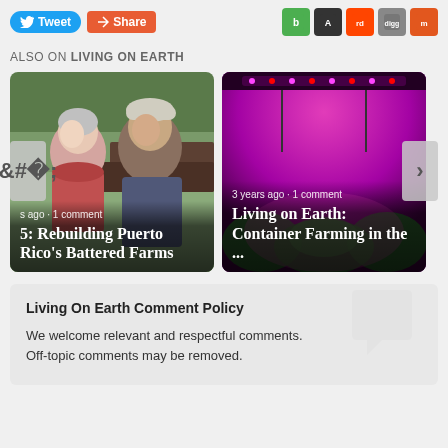[Figure (screenshot): Social sharing buttons: Tweet (Twitter blue), Share (orange/red), plus social icons on the right (green, dark, reddit, digg, mix)]
ALSO ON LIVING ON EARTH
[Figure (photo): Card 1: Two people smiling outdoors. Title: 5: Rebuilding Puerto Rico's Battered Farms. Meta: s ago · 1 comment]
[Figure (photo): Card 2: Pink/purple grow lights over plants in container farm. Title: Living on Earth: Container Farming in the ... Meta: 3 years ago · 1 comment]
Living On Earth Comment Policy
We welcome relevant and respectful comments. Off-topic comments may be removed.